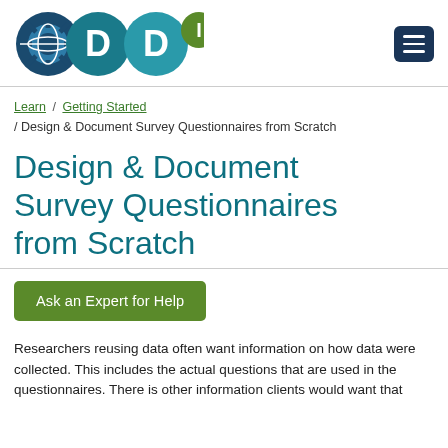[Figure (logo): DDI logo — globe icon with gear, two teal circles with D and D, green circle with I, registered trademark symbol]
Learn / Getting Started / Design & Document Survey Questionnaires from Scratch
Design & Document Survey Questionnaires from Scratch
Ask an Expert for Help
Researchers reusing data often want information on how data were collected. This includes the actual questions that are used in the questionnaires. There is other information clients would want that